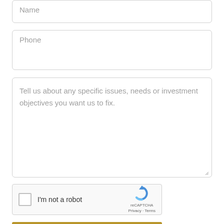Name
Phone
Tell us about any specific issues, needs or investment objectives you want us to fix.
[Figure (other): reCAPTCHA widget with checkbox labeled I'm not a robot, reCAPTCHA logo, Privacy and Terms links]
Send